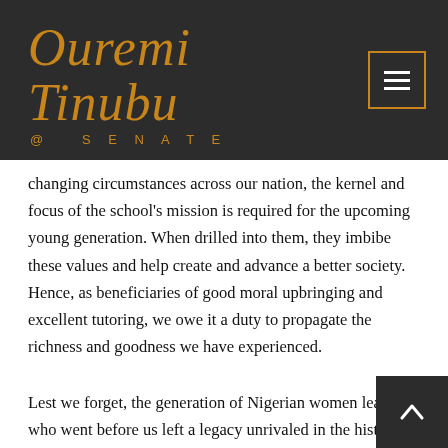[Figure (logo): Ouremi Tinubu @ Senate logo in gold script on dark background with hamburger menu icon]
changing circumstances across our nation, the kernel and focus of the school's mission is required for the upcoming young generation. When drilled into them, they imbibe these values and help create and advance a better society. Hence, as beneficiaries of good moral upbringing and excellent tutoring, we owe it a duty to propagate the richness and goodness we have experienced.
Lest we forget, the generation of Nigerian women leaders who went before us left a legacy unrivaled in the history of our country. They left behind a legacy that can survive universal